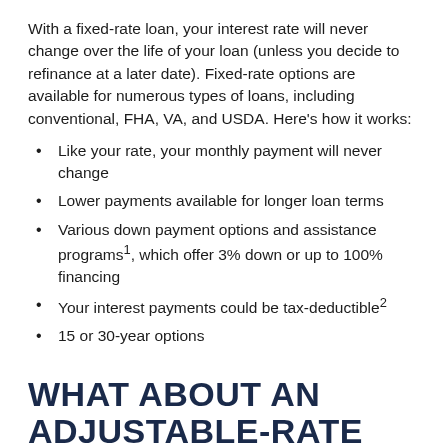With a fixed-rate loan, your interest rate will never change over the life of your loan (unless you decide to refinance at a later date). Fixed-rate options are available for numerous types of loans, including conventional, FHA, VA, and USDA. Here’s how it works:
Like your rate, your monthly payment will never change
Lower payments available for longer loan terms
Various down payment options and assistance programs¹, which offer 3% down or up to 100% financing
Your interest payments could be tax-deductible²
15 or 30-year options
WHAT ABOUT AN ADJUSTABLE-RATE MORTGAGE (ARM)?
An ARM loan...